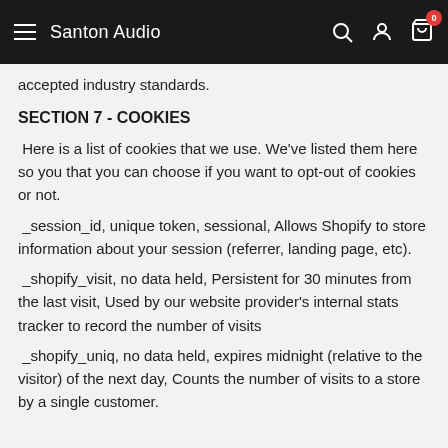Santon Audio
accepted industry standards.
SECTION 7 - COOKIES
Here is a list of cookies that we use. We've listed them here so you that you can choose if you want to opt-out of cookies or not.
_session_id, unique token, sessional, Allows Shopify to store information about your session (referrer, landing page, etc).
_shopify_visit, no data held, Persistent for 30 minutes from the last visit, Used by our website provider's internal stats tracker to record the number of visits
_shopify_uniq, no data held, expires midnight (relative to the visitor) of the next day, Counts the number of visits to a store by a single customer.